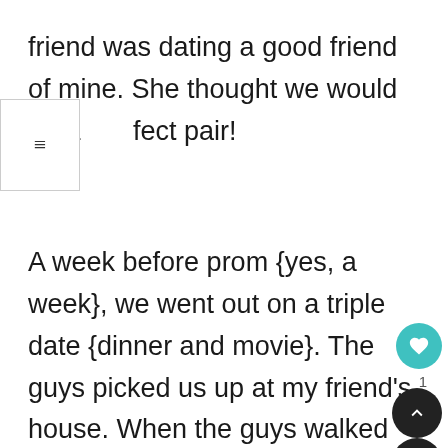friend was dating a good friend of mine. She thought we would be a perfect pair!
A week before prom {yes, a week}, we went out on a triple date {dinner and movie}. The guys picked us up at my friend's house. When the guys walked in, I thought for sure the blonde was my date. Not that quiet, shy brown-haired boy who couldn't even make eye contact!